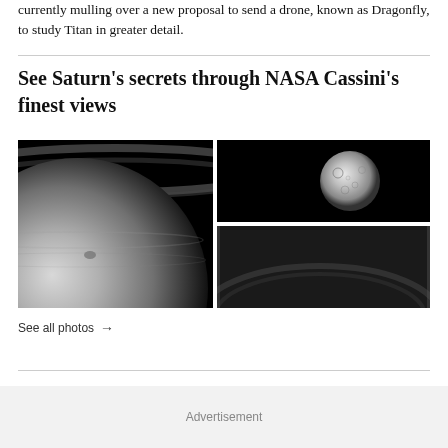currently mulling over a new proposal to send a drone, known as Dragonfly, to study Titan in greater detail.
See Saturn's secrets through NASA Cassini's finest views
[Figure (photo): Black and white NASA Cassini image of Saturn showing the planet's surface and ring arc in the background, plus two smaller images on the right: one of a cratered moon (Tethys) against black space, and one partially visible image with overlay text '+31 more']
See all photos →
Advertisement